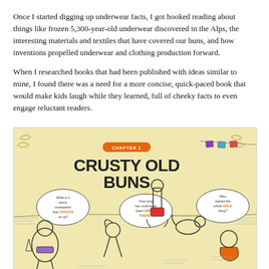Once I started digging up underwear facts, I got hooked reading about things like frozen 5,300-year-old underwear discovered in the Alps, the interesting materials and textiles that have covered our buns, and how inventions propelled underwear and clothing production forward.
When I researched books that had been published with ideas similar to mine, I found there was a need for a more concise, quick-paced book that would make kids laugh while they learned, full of cheeky facts to even engage reluctant readers.
[Figure (illustration): Book interior illustration showing Chapter 1 titled 'CRUSTY OLD BUNS' on a yellow background with cartoon characters including people, a dog, and speech bubbles asking questions like 'What is it about underpants that CRACKS us up?', 'How long has underwear been UNDER THERE?', and 'Who started the whole HOLE thing?']